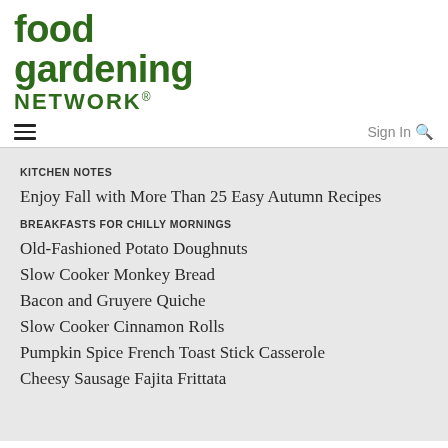[Figure (logo): Food Gardening Network logo in dark green bold text]
Sign In 🔍
KITCHEN NOTES
Enjoy Fall with More Than 25 Easy Autumn Recipes
BREAKFASTS FOR CHILLY MORNINGS
Old-Fashioned Potato Doughnuts
Slow Cooker Monkey Bread
Bacon and Gruyere Quiche
Slow Cooker Cinnamon Rolls
Pumpkin Spice French Toast Stick Casserole
Cheesy Sausage Fajita Frittata